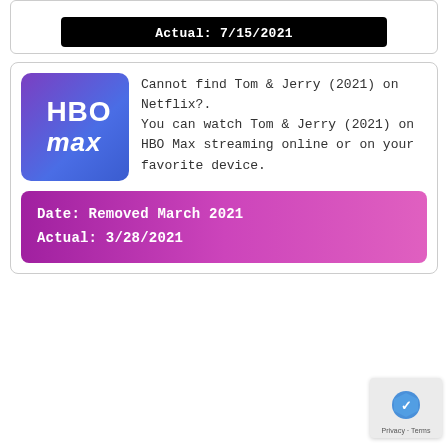[Figure (screenshot): Top card with black pill showing 'Actual: 7/15/2021']
Cannot find Tom & Jerry (2021) on Netflix?. You can watch Tom & Jerry (2021) on HBO Max streaming online or on your favorite device.
Date: Removed March 2021
Actual: 3/28/2021
[Figure (logo): reCAPTCHA badge with privacy and terms text]